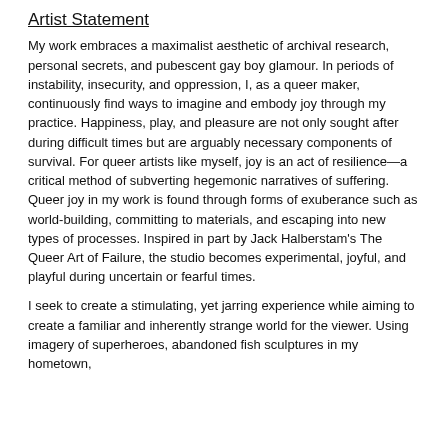Artist Statement
My work embraces a maximalist aesthetic of archival research, personal secrets, and pubescent gay boy glamour. In periods of instability, insecurity, and oppression, I, as a queer maker, continuously find ways to imagine and embody joy through my practice. Happiness, play, and pleasure are not only sought after during difficult times but are arguably necessary components of survival. For queer artists like myself, joy is an act of resilience—a critical method of subverting hegemonic narratives of suffering. Queer joy in my work is found through forms of exuberance such as world-building, committing to materials, and escaping into new types of processes. Inspired in part by Jack Halberstam's The Queer Art of Failure, the studio becomes experimental, joyful, and playful during uncertain or fearful times.
I seek to create a stimulating, yet jarring experience while aiming to create a familiar and inherently strange world for the viewer. Using imagery of superheroes, abandoned fish sculptures in my hometown,